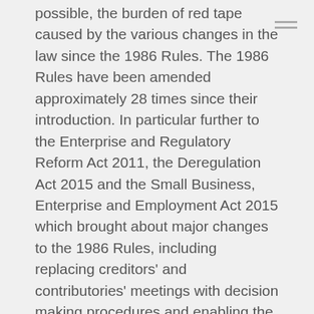possible, the burden of red tape caused by the various changes in the law since the 1986 Rules. The 1986 Rules have been amended approximately 28 times since their introduction. In particular further to the Enterprise and Regulatory Reform Act 2011, the Deregulation Act 2015 and the Small Business, Enterprise and Employment Act 2015 which brought about major changes to the 1986 Rules, including replacing creditors' and contributories' meetings with decision making procedures and enabling the use of modern methods of communication. The 2016 Rules will incorporate all of these changes.
The Changes
The structural changes to the 2016 Rules include the separation by type of liquidation, to help bring clarity, and the streamlining of the procedures and processes which are common across all insolvency processes, which are set out in